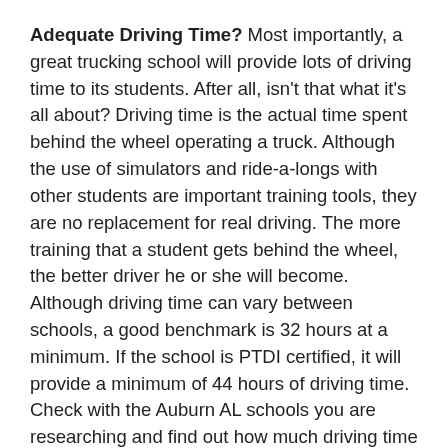Adequate Driving Time? Most importantly, a great trucking school will provide lots of driving time to its students. After all, isn't that what it's all about? Driving time is the actual time spent behind the wheel operating a truck. Although the use of simulators and ride-a-longs with other students are important training tools, they are no replacement for real driving. The more training that a student gets behind the wheel, the better driver he or she will become. Although driving time can vary between schools, a good benchmark is 32 hours at a minimum. If the school is PTDI certified, it will provide a minimum of 44 hours of driving time. Check with the Auburn AL schools you are researching and find out how much driving time they provide.
Are they Captive or Independent ? You can get free or discounted training from some trucking schools if you make a commitment to be a driver for a particular carrier